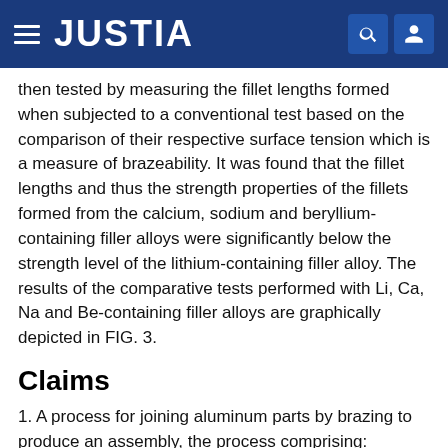JUSTIA
then tested by measuring the fillet lengths formed when subjected to a conventional test based on the comparison of their respective surface tension which is a measure of brazeability. It was found that the fillet lengths and thus the strength properties of the fillets formed from the calcium, sodium and beryllium-containing filler alloys were significantly below the strength level of the lithium-containing filler alloy. The results of the comparative tests performed with Li, Ca, Na and Be-containing filler alloys are graphically depicted in FIG. 3.
Claims
1. A process for joining aluminum parts by brazing to produce an assembly, the process comprising:
(a) providing a composite sheet having an